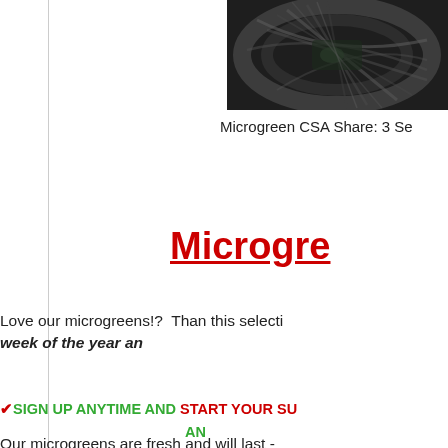[Figure (photo): Close-up photo of microgreens in a dark bowl on a wooden surface, showing tangled dark green shoots]
Microgreen CSA Share: 3 Se
Microgre
Love our microgreens!?  Than this selecti… week of the year an…
✔SIGN UP ANYTIME AND START YOUR SU… AN…
Our microgreens are fresh and will last -